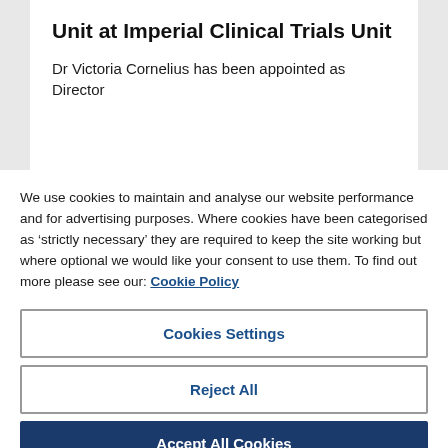Unit at Imperial Clinical Trials Unit
Dr Victoria Cornelius has been appointed as Director
We use cookies to maintain and analyse our website performance and for advertising purposes. Where cookies have been categorised as ‘strictly necessary’ they are required to keep the site working but where optional we would like your consent to use them. To find out more please see our: Cookie Policy
Cookies Settings
Reject All
Accept All Cookies